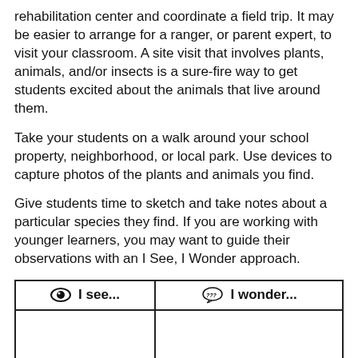rehabilitation center and coordinate a field trip. It may be easier to arrange for a ranger, or parent expert, to visit your classroom. A site visit that involves plants, animals, and/or insects is a sure-fire way to get students excited about the animals that live around them.
Take your students on a walk around your school property, neighborhood, or local park. Use devices to capture photos of the plants and animals you find.
Give students time to sketch and take notes about a particular species they find. If you are working with younger learners, you may want to guide their observations with an I See, I Wonder approach.
| I see... | I wonder... |
| --- | --- |
|  |  |